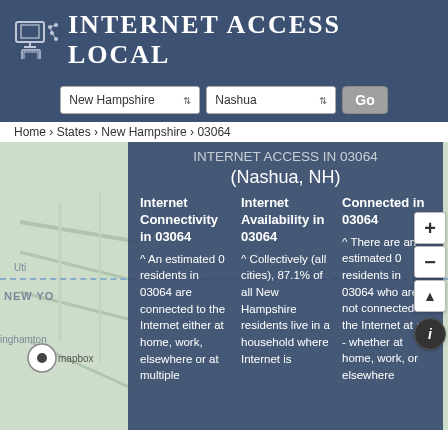INTERNET ACCESS LOCAL
New Hampshire | Nashua | Go
Home › States › New Hampshire › 03064
INTERNET ACCESS IN 03064 (Nashua, NH)
Internet Connectivity in 03064
^ An estimated 0 residents in 03064 are connected to the Internet either at home, work, elsewhere or at multiple
Internet Availability in 03064
^ Collectively (all cities), 87.1% of all New Hampshire residents live in a household where Internet is
Connected in 03064
^ There are an estimated 0 residents in 03064 who are not connected to the Internet at all - whether at home, work, or elsewhere